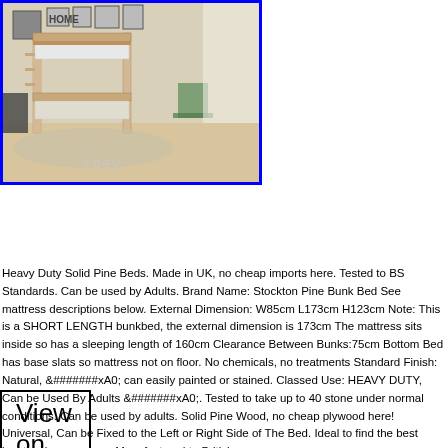[Figure (photo): Bunk bed product photo showing a solid pine bunk bed in a room setting with home decor on the wall, with blue border and eBay watermark]
View on eBay
Heavy Duty Solid Pine Beds. Made in UK, no cheap imports here. Tested to BS Standards. Can be used by Adults. Brand Name: Stockton Pine Bunk Bed See mattress descriptions below. External Dimension: W85cm L173cm H123cm Note: This is a SHORT LENGTH bunkbed, the external dimension is 173cm The mattress sits inside so has a sleeping length of 160cm Clearance Between Bunks:75cm Bottom Bed has base slats so mattress not on floor. No chemicals, no treatments Standard Finish: Natural, &#xA0; can easily painted or stained. Classed Use: HEAVY DUTY, Can be Used By Adults &#xA0;. Tested to take up to 40 stone under normal conditions. Can be used by adults. Solid Pine Wood, no cheap plywood here! Universal, Can be Fixed to the Left or Right Side of The Bed. Ideal to find the best location in your room. Manufactured to British